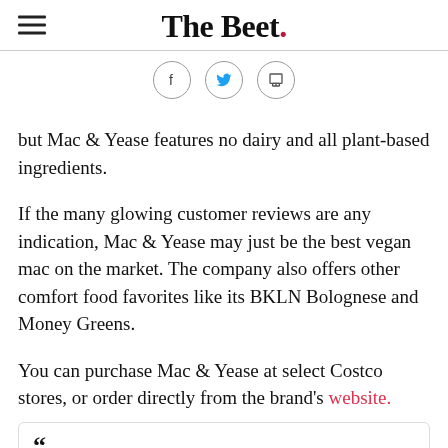The Beet.
[Figure (other): Social share icons: Facebook, Twitter, Print]
but Mac & Yease features no dairy and all plant-based ingredients.
If the many glowing customer reviews are any indication, Mac & Yease may just be the best vegan mac on the market. The company also offers other comfort food favorites like its BKLN Bolognese and Money Greens.
You can purchase Mac & Yease at select Costco stores, or order directly from the brand's website.
[Figure (other): Quote box with large quotation marks, avatar circle placeholder, and two gray blurred text lines suggesting a customer review]